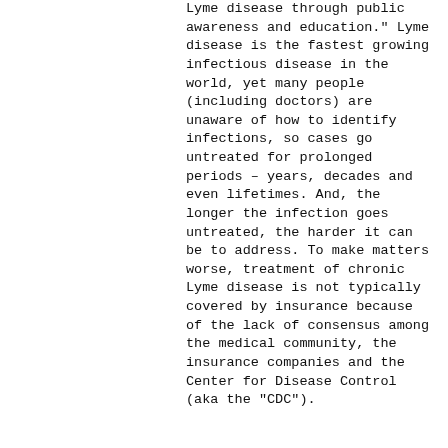Lyme disease through public awareness and education." Lyme disease is the fastest growing infectious disease in the world, yet many people (including doctors) are unaware of how to identify infections, so cases go untreated for prolonged periods – years, decades and even lifetimes. And, the longer the infection goes untreated, the harder it can be to address. To make matters worse, treatment of chronic Lyme disease is not typically covered by insurance because of the lack of consensus among the medical community, the insurance companies and the Center for Disease Control (aka the "CDC").